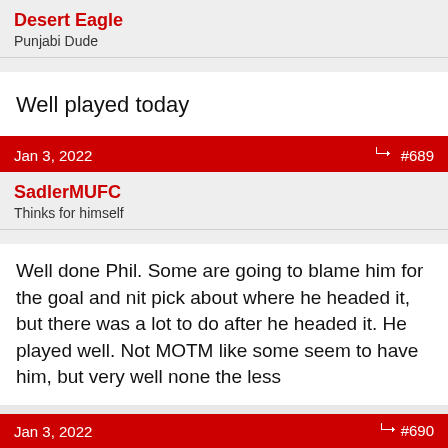Desert Eagle
Punjabi Dude
Well played today
Jan 3, 2022  #689
SadlerMUFC
Thinks for himself
Well done Phil. Some are going to blame him for the goal and nit pick about where he headed it, but there was a lot to do after he headed it. He played well. Not MOTM like some seem to have him, but very well none the less
Jan 3, 2022  #690